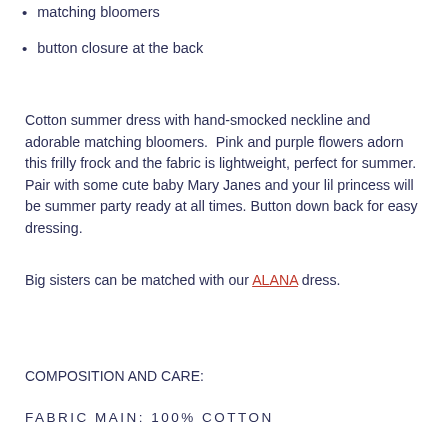matching bloomers
button closure at the back
Cotton summer dress with hand-smocked neckline and adorable matching bloomers.  Pink and purple flowers adorn this frilly frock and the fabric is lightweight, perfect for summer. Pair with some cute baby Mary Janes and your lil princess will be summer party ready at all times. Button down back for easy dressing.
Big sisters can be matched with our ALANA dress.
COMPOSITION AND CARE:
FABRIC MAIN: 100% COTTON